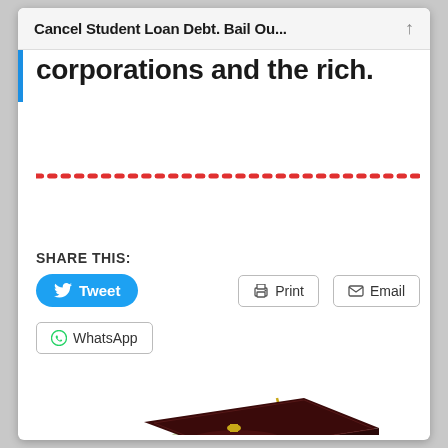Cancel Student Loan Debt. Bail Ou...
corporations and the rich.
SHARE THIS:
[Figure (screenshot): Tweet button (blue), Print button, Email button, WhatsApp button — social sharing buttons for the article]
[Figure (photo): A graduation cap (mortarboard) sitting on top of a rolled dollar bill, symbolizing student loan debt]